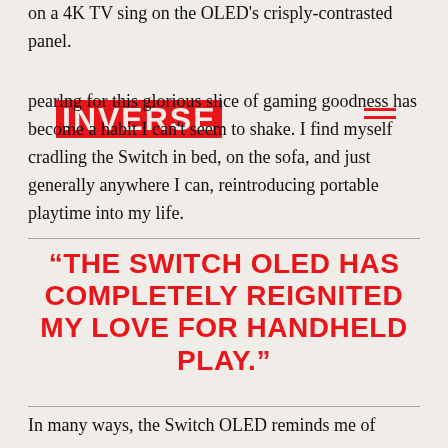INVERSE
on a 4K TV sing on the OLED's crisply-contrasted panel. Pearlng for this glorious slice of gaming goodness has become a habit I can't seem to shake. I find myself cradling the Switch in bed, on the sofa, and just generally anywhere I can, reintroducing portable playtime into my life.
“THE SWITCH OLED HAS COMPLETELY REIGNITED MY LOVE FOR HANDHELD PLAY.”
In many ways, the Switch OLED reminds me of